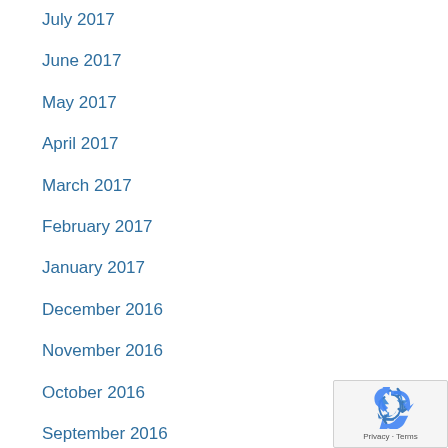July 2017
June 2017
May 2017
April 2017
March 2017
February 2017
January 2017
December 2016
November 2016
October 2016
September 2016
[Figure (logo): Google reCAPTCHA privacy badge with recycling-arrow icon and Privacy/Terms text]